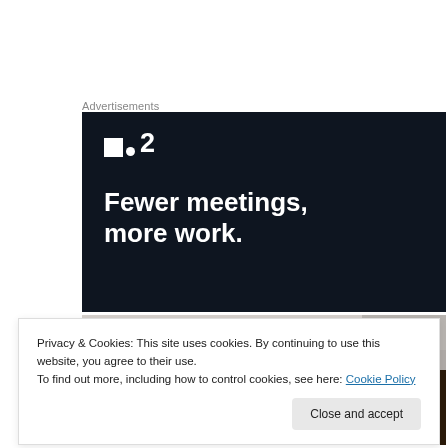Advertisements
[Figure (other): Advertisement banner for Planio (or similar project management tool) with dark navy background, logo with two squares and number 2, and bold white text reading 'Fewer meetings, more work.']
[Figure (photo): Partial photo strip showing blurred indoor scene at top and an orange/citrus fruit at the bottom edge.]
Privacy & Cookies: This site uses cookies. By continuing to use this website, you agree to their use.
To find out more, including how to control cookies, see here: Cookie Policy
Close and accept